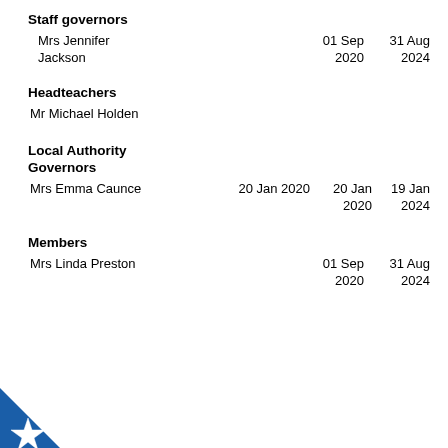Staff governors
Mrs Jennifer Jackson    01 Sep 2020    31 Aug 2024
Headteachers
Mr Michael Holden
Local Authority
Governors
Mrs Emma Caunce    20 Jan 2020    20 Jan 2020    19 Jan 2024
Members
Mrs Linda Preston    01 Sep 2020    31 Aug 2024